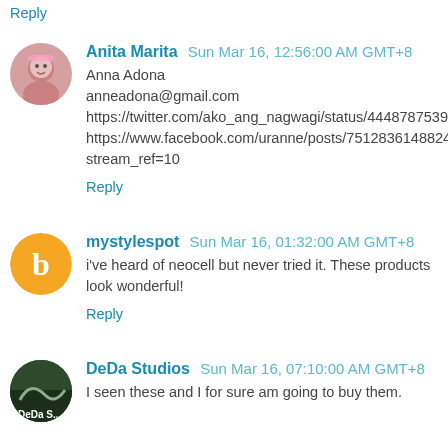Reply
Anita Marita  Sun Mar 16, 12:56:00 AM GMT+8
Anna Adona
anneadona@gmail.com
https://twitter.com/ako_ang_nagwagi/status/444878753982713856
https://www.facebook.com/uranne/posts/751283614882433?stream_ref=10
Reply
mystylespot  Sun Mar 16, 01:32:00 AM GMT+8
i've heard of neocell but never tried it. These products look wonderful!
Reply
DeDa Studios  Sun Mar 16, 07:10:00 AM GMT+8
I seen these and I for sure am going to buy them.